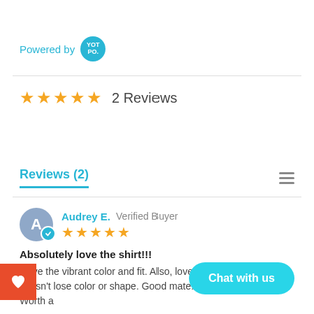Powered by YOTPO
2 Reviews
Reviews (2)
Audrey E. Verified Buyer
Absolutely love the shirt!!!
I love the vibrant color and fit. Also, love when you wash it doesn't lose color or shape. Good mate... one of my favorites. Worth a
Share |
[Figure (other): Chat with us button overlay]
[Figure (other): Wishlist heart button (red, bottom left)]